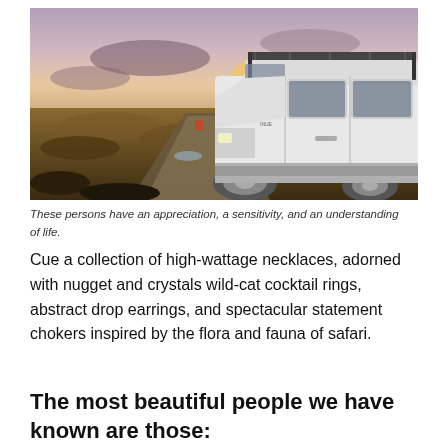[Figure (photo): A white Land Rover Defender SUV with a roof rack parked on a dirt road in a barren moorland landscape at dusk, with a dramatic sky showing orange and grey clouds in the background.]
These persons have an appreciation, a sensitivity, and an understanding of life.
Cue a collection of high-wattage necklaces, adorned with nugget and crystals wild-cat cocktail rings, abstract drop earrings, and spectacular statement chokers inspired by the flora and fauna of safari.
The most beautiful people we have known are those: